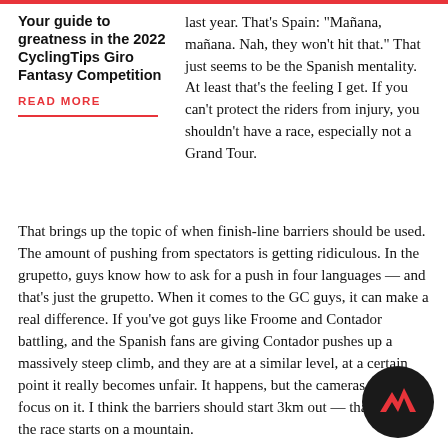Your guide to greatness in the 2022 CyclingTips Giro Fantasy Competition
READ MORE
last year. That’s Spain: “Mañana, mañana. Nah, they won’t hit that.” That just seems to be the Spanish mentality. At least that’s the feeling I get. If you can’t protect the riders from injury, you shouldn’t have a race, especially not a Grand Tour.
That brings up the topic of when finish-line barriers should be used. The amount of pushing from spectators is getting ridiculous. In the grupetto, guys know how to ask for a push in four languages — and that’s just the grupetto. When it comes to the GC guys, it can make a real difference. If you’ve got guys like Froome and Contador battling, and the Spanish fans are giving Contador pushes up a massively steep climb, and they are at a similar level, at a certain point it really becomes unfair. It happens, but the cameras don’t focus on it. I think the barriers should start 3km out — that’s where the race starts on a mountain.
[Figure (logo): CyclingTips logo: dark circle with red zigzag/chevron mark]